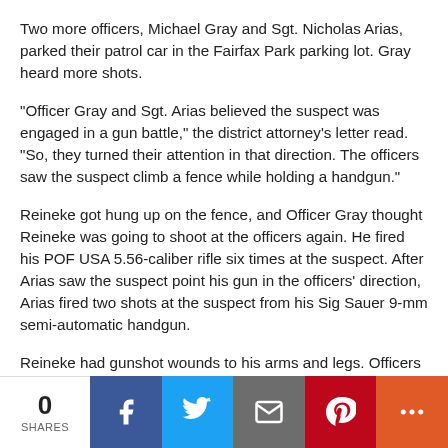Two more officers, Michael Gray and Sgt. Nicholas Arias, parked their patrol car in the Fairfax Park parking lot. Gray heard more shots.
"Officer Gray and Sgt. Arias believed the suspect was engaged in a gun battle," the district attorney's letter read. "So, they turned their attention in that direction. The officers saw the suspect climb a fence while holding a handgun."
Reineke got hung up on the fence, and Officer Gray thought Reineke was going to shoot at the officers again. He fired his POF USA 5.56-caliber rifle six times at the suspect. After Arias saw the suspect point his gun in the officers' direction, Arias fired two shots at the suspect from his Sig Sauer 9-mm semi-automatic handgun.
Reineke had gunshot wounds to his arms and legs. Officers apprehended him in the driveway of the home at 6900 Fairfax Drive.
"Under Colorado law, a law enforcement officer may use an amount of force, including deadly physical force, when it is...
0 SHARES | Facebook | Twitter | Email | Pinterest | More